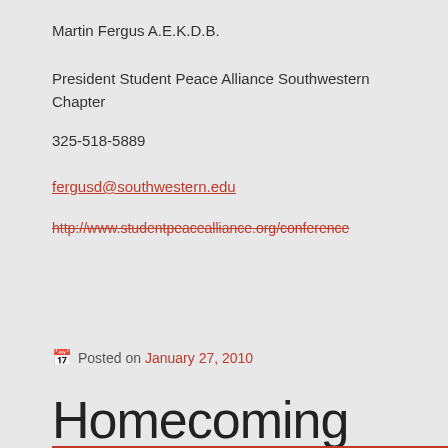Martin Fergus A.E.K.D.B.
President Student Peace Alliance Southwestern Chapter
325-518-5889
fergusd@southwestern.edu
http://www.studentpeacealliance.org/conference
Posted on January 27, 2010
Homecoming